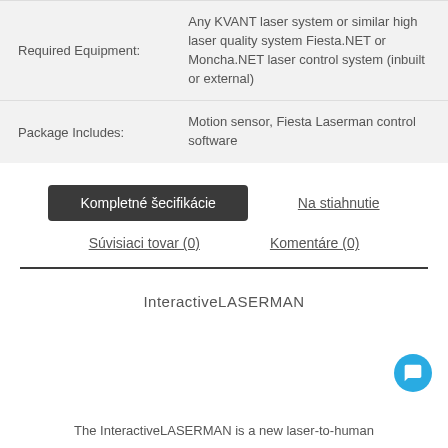|  |  |
| --- | --- |
| Required Equipment: | Any KVANT laser system or similar high laser quality system Fiesta.NET or Moncha.NET laser control system (inbuilt or external) |
| Package Includes: | Motion sensor, Fiesta Laserman control software |
Kompletné špecifikácie
Na stiahnutie
Súvisiaci tovar (0)
Komentáre (0)
InteractiveLASERMAN
The InteractiveLASERMAN is a new laser-to-human